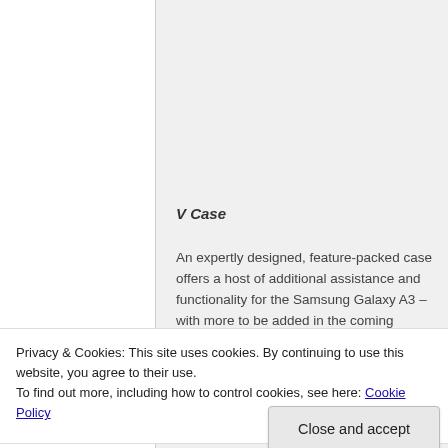V Case
An expertly designed, feature-packed case offers a host of additional assistance and functionality for the Samsung Galaxy A3 – with more to be added in the coming months.  Those
Privacy & Cookies: This site uses cookies. By continuing to use this website, you agree to their use.
To find out more, including how to control cookies, see here: Cookie Policy
Close and accept
Magnifying lens: Dedicated lens